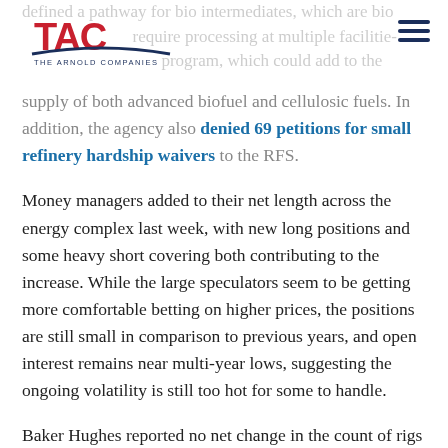[Figure (logo): TAC – The Arnold Companies logo, red letters with blue swoosh and company name below]
defined a pathway for bio intermediates, which are biofuels that require processing at multiple facilities to earn RINs program, which could add to the supply of both advanced biofuel and cellulosic fuels. In addition, the agency also denied 69 petitions for small refinery hardship waivers to the RFS.
Money managers added to their net length across the energy complex last week, with new long positions and some heavy short covering both contributing to the increase. While the large speculators seem to be getting more comfortable betting on higher prices, the positions are still small in comparison to previous years, and open interest remains near multi-year lows, suggesting the ongoing volatility is still too hot for some to handle.
Baker Hughes reported no net change in the count of rigs drilling for oil and gas in the US last week. A Rystad